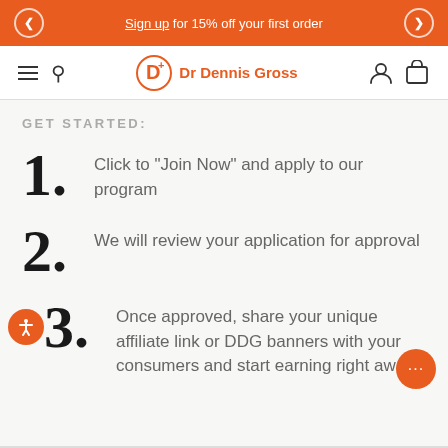Sign up for 15% off your first order
[Figure (logo): Dr Dennis Gross logo with orange D+ icon and brand name]
GET STARTED:
1. Click to "Join Now" and apply to our program
2. We will review your application for approval
3. Once approved, share your unique affiliate link or DDG banners with your consumers and start earning right away!